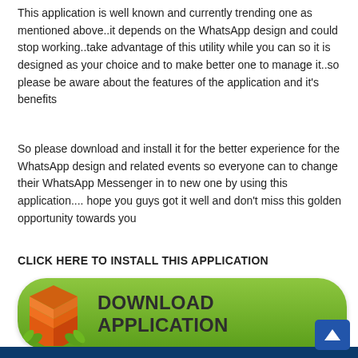This application is well known and currently trending one as mentioned above..it depends on the WhatsApp design and could stop working..take advantage of this utility while you can so it is designed as your choice and to make better one to manage it..so please be aware about the features of the application and it's benefits
So please download and install it for the better experience for the WhatsApp design and related events so everyone can to change their WhatsApp Messenger in to new one by using this application.... hope you guys got it well and don't miss this golden opportunity towards you
CLICK HERE TO INSTALL THIS APPLICATION
[Figure (illustration): Green rounded button with an orange 3D box/package icon on the left and bold text 'DOWNLOAD APPLICATION' on the right]